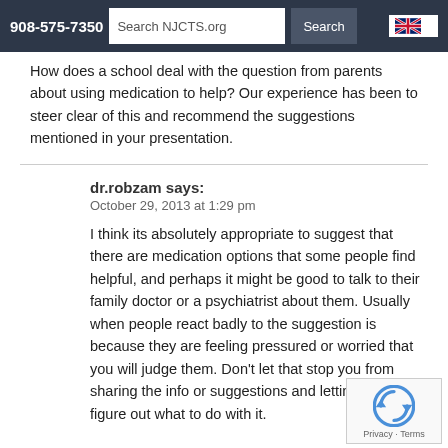908-575-7350 | Search NJCTS.org | Search
How does a school deal with the question from parents about using medication to help? Our experience has been to steer clear of this and recommend the suggestions mentioned in your presentation.
dr.robzam says:
October 29, 2013 at 1:29 pm

I think its absolutely appropriate to suggest that there are medication options that some people find helpful, and perhaps it might be good to talk to their family doctor or a psychiatrist about them. Usually when people react badly to the suggestion is because they are feeling pressured or worried that you will judge them. Don't let that stop you from sharing the info or suggestions and letting the family figure out what to do with it.